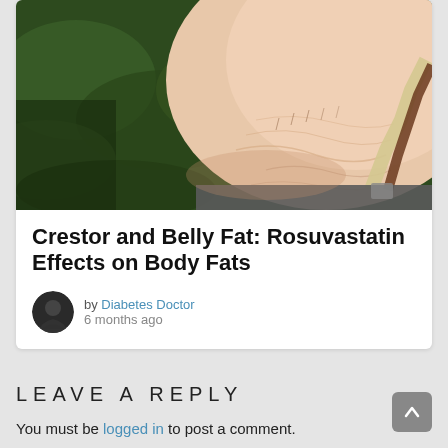[Figure (photo): Close-up photo of a person's large protruding belly/abdomen against a green leafy background, wearing suspenders and grey pants]
Crestor and Belly Fat: Rosuvastatin Effects on Body Fats
by Diabetes Doctor
6 months ago
LEAVE A REPLY
You must be logged in to post a comment.